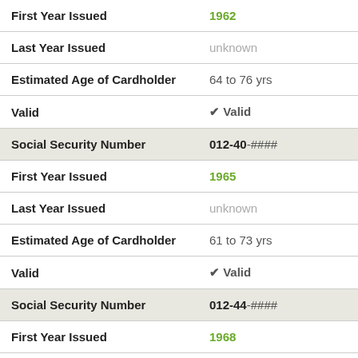| Field | Value |
| --- | --- |
| First Year Issued | 1962 |
| Last Year Issued | unknown |
| Estimated Age of Cardholder | 64 to 76 yrs |
| Valid | ✓ Valid |
| Social Security Number | 012-40-#### |
| First Year Issued | 1965 |
| Last Year Issued | unknown |
| Estimated Age of Cardholder | 61 to 73 yrs |
| Valid | ✓ Valid |
| Social Security Number | 012-44-#### |
| First Year Issued | 1968 |